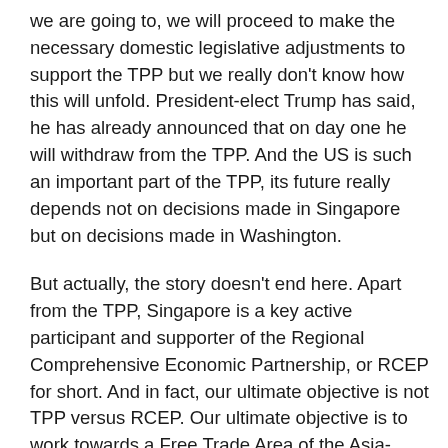we are going to, we will proceed to make the necessary domestic legislative adjustments to support the TPP but we really don't know how this will unfold. President-elect Trump has said, he has already announced that on day one he will withdraw from the TPP. And the US is such an important part of the TPP, its future really depends not on decisions made in Singapore but on decisions made in Washington.
But actually, the story doesn't end here. Apart from the TPP, Singapore is a key active participant and supporter of the Regional Comprehensive Economic Partnership, or RCEP for short. And in fact, our ultimate objective is not TPP versus RCEP. Our ultimate objective is to work towards a Free Trade Area of the Asia-Pacific that would promote trade liberalisation, and sustain growth through interdependence and win-win outcomes.
And that brings me to the next sub-point on trade, which is that I believe this is a global phenomenon. I believe it